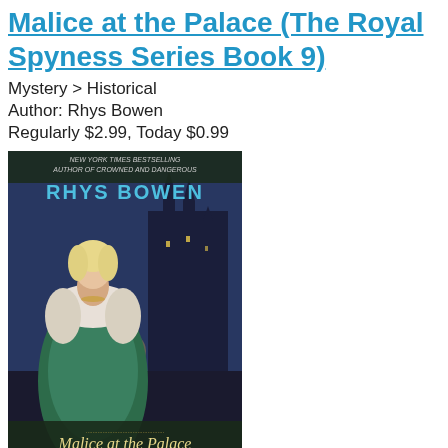Malice at the Palace (The Royal Spyness Series Book 9)
Mystery > Historical
Author: Rhys Bowen
Regularly $2.99, Today $0.99
[Figure (photo): Book cover of 'Malice at the Palace' by Rhys Bowen, showing a woman in a green gown against a dark palace backdrop.]
Caught between her high birth and empty purse, Georgie is relieved to receive a new assignment from the Queen. The King's youngest son, George, is to wed Princess Marina of Greece, and the Queen wants Georgie to be her